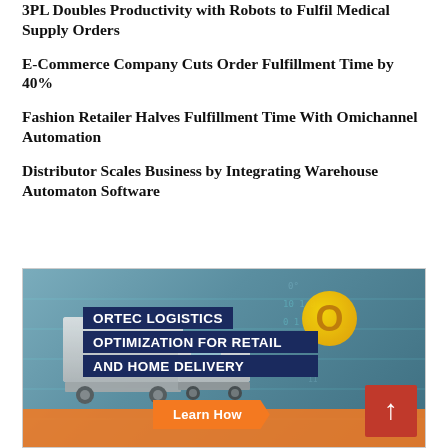3PL Doubles Productivity With Robots to Fulfil Medical Supply Orders
E-Commerce Company Cuts Order Fulfillment Time by 40%
Fashion Retailer Halves Fulfillment Time With Omichannel Automation
Distributor Scales Business by Integrating Warehouse Automaton Software
[Figure (advertisement): ORTEC Logistics Optimization for Retail and Home Delivery advertisement with delivery vans image, orange accent, Learn How button and red up-arrow button.]